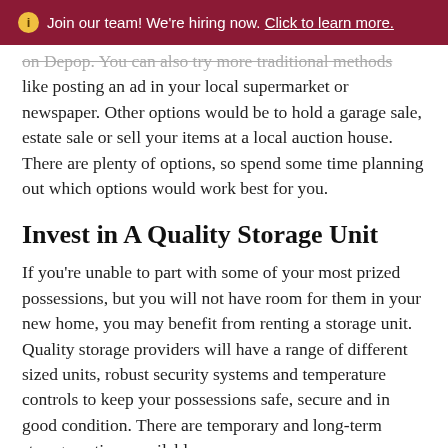ℹ Join our team! We're hiring now. Click to learn more.
on Depop. You can also try more traditional methods like posting an ad in your local supermarket or newspaper. Other options would be to hold a garage sale, estate sale or sell your items at a local auction house. There are plenty of options, so spend some time planning out which options would work best for you.
Invest in A Quality Storage Unit
If you're unable to part with some of your most prized possessions, but you will not have room for them in your new home, you may benefit from renting a storage unit. Quality storage providers will have a range of different sized units, robust security systems and temperature controls to keep your possessions safe, secure and in good condition. There are temporary and long-term storage options available.